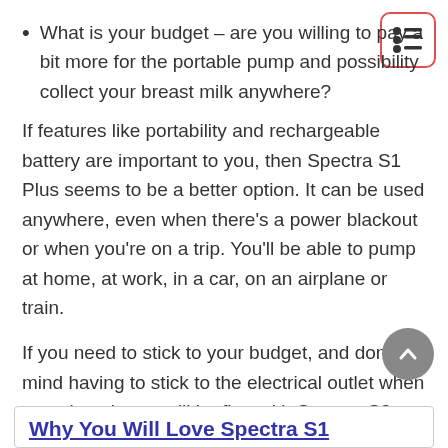What is your budget – are you willing to pay a bit more for the portable pump and possibility collect your breast milk anywhere?
If features like portability and rechargeable battery are important to you, then Spectra S1 Plus seems to be a better option. It can be used anywhere, even when there's a power blackout or when you're on a trip. You'll be able to pump at home, at work, in a car, on an airplane or train.
If you need to stick to your budget, and don't mind having to stick to the electrical outlet when pumping, then you'll be fine with Spectra S2.
Why You Will Love Spectra S1